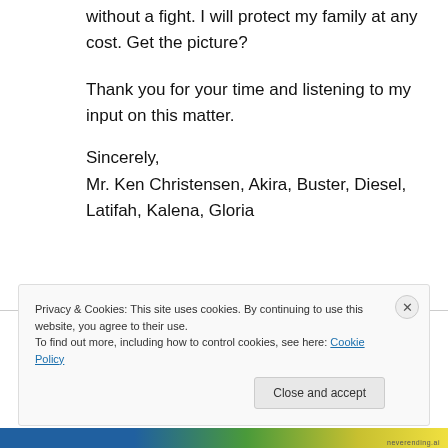without a fight. I will protect my family at any cost. Get the picture?
Thank you for your time and listening to my input on this matter.
Sincerely,
Mr. Ken Christensen, Akira, Buster, Diesel, Latifah, Kalena, Gloria
Privacy & Cookies: This site uses cookies. By continuing to use this website, you agree to their use.
To find out more, including how to control cookies, see here: Cookie Policy
Close and accept